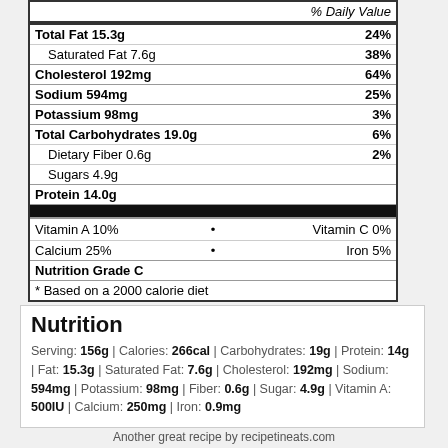| Nutrient | Amount | % Daily Value |
| --- | --- | --- |
| Total Fat | 15.3g | 24% |
| Saturated Fat | 7.6g | 38% |
| Cholesterol | 192mg | 64% |
| Sodium | 594mg | 25% |
| Potassium | 98mg | 3% |
| Total Carbohydrates | 19.0g | 6% |
| Dietary Fiber | 0.6g | 2% |
| Sugars | 4.9g |  |
| Protein | 14.0g |  |
| Vitamin A | 10% |  |
| Vitamin C | 0% |  |
| Calcium | 25% |  |
| Iron | 5% |  |
| Nutrition Grade C |  |  |
| * Based on a 2000 calorie diet |  |  |
Nutrition
Serving: 156g | Calories: 266cal | Carbohydrates: 19g | Protein: 14g | Fat: 15.3g | Saturated Fat: 7.6g | Cholesterol: 192mg | Sodium: 594mg | Potassium: 98mg | Fiber: 0.6g | Sugar: 4.9g | Vitamin A: 500IU | Calcium: 250mg | Iron: 0.9mg
Another great recipe by recipetineats.com